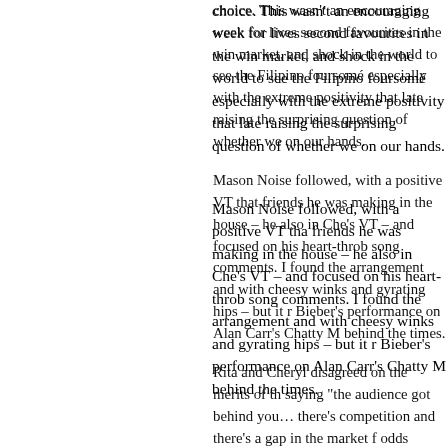choice. This wasn't an encouraging week for lives second favourites in the win market, and shock in the world to see the Filipino foursome especially with the extreme positivity that lately raising the surprising question of whether we on our hands.
Mason Noise followed, with a positive VT that friends he was making in the house – he also in Che's VT – and focused on his heart-throb song comments. I found the arrangement and with cheesy winks and gyrating hips – but it r Bieber's performance on Alan Carr's Chatty M behind the times.
Rita and Cheryl disagreed on the merits of th saying "the audience got behind you… there's competition and there's a gap in the market f odds shortened slightly, reflecting the sense t suggested producers seem hopeful of keeping out second in the running order hardly paints
"Good luck" were the words with which Simon need it. The VT followed a pretty standard str direction, and so it proved. Anton had kitsch V and big staircase, and dancers dressed as sp at times, but there were moments of fun amid remained as personally likeable as ever, apo compared it to "a really bad musical".
The overall vibe was reminiscent of when the